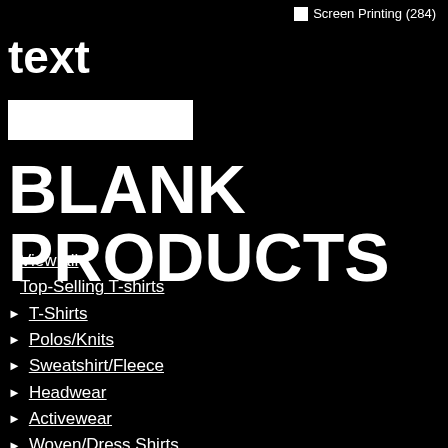Screen Printing (284)
text
[Figure (other): White input/search box]
BLANK PRODUCTS
View all
Top-Selling T-shirts
T-Shirts
Polos/Knits
Sweatshirt/Fleece
Headwear
Activewear
Woven/Dress Shirts
Pants & Shorts
Outerwear
Workwear